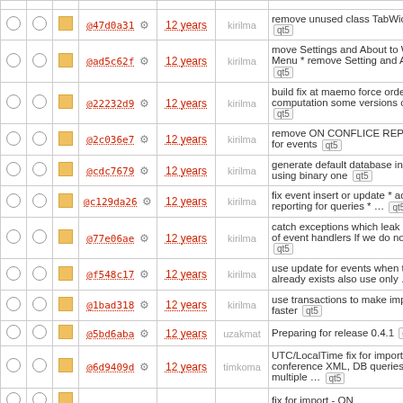|  |  |  | hash | age | author | message |
| --- | --- | --- | --- | --- | --- | --- |
| ○ | ○ | □ | @47d0a31 ⚙ | 12 years | kirilma | remove unused class TabWidget? qt5 |
| ○ | ○ | □ | @ad5c62f ⚙ | 12 years | kirilma | move Settings and About to Window Menu * remove Setting and About … qt5 |
| ○ | ○ | □ | @22232d9 ⚙ | 12 years | kirilma | build fix at maemo force order of computation some versions of … qt5 |
| ○ | ○ | □ | @2c036e7 ⚙ | 12 years | kirilma | remove ON CONFLICE REPLACE for events qt5 |
| ○ | ○ | □ | @cdc7679 ⚙ | 12 years | kirilma | generate default database instead of using binary one qt5 |
| ○ | ○ | □ | @c129da26 ⚙ | 12 years | kirilma | fix event insert or update * add error reporting for queries * … qt5 |
| ○ | ○ | □ | @77e06ae ⚙ | 12 years | kirilma | catch exceptions which leak outside of event handlers If we do not do … qt5 |
| ○ | ○ | □ | @f548c17 ⚙ | 12 years | kirilma | use update for events when they are already exists also use only … qt5 |
| ○ | ○ | □ | @1bad318 ⚙ | 12 years | kirilma | use transactions to make import faster qt5 |
| ○ | ○ | □ | @5bd6aba ⚙ | 12 years | uzakmat | Preparing for release 0.4.1 qt5 |
| ○ | ○ | □ | @6d9409d ⚙ | 12 years | timkoma | UTC/LocalTime fix for import conference XML, DB queries for multiple … qt5 |
| ○ | ○ | □ | … | … | … | fix for import - ON |